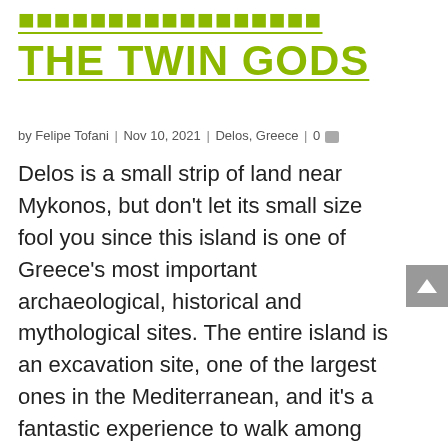THE TWIN GODS
by Felipe Tofani | Nov 10, 2021 | Delos, Greece | 0
Delos is a small strip of land near Mykonos, but don't let its small size fool you since this island is one of Greece's most important archaeological, historical and mythological sites. The entire island is an excavation site, one of the largest ones in the Mediterranean, and it's a fantastic experience to walk among the ruins and see how the ancient Greeks used to live.